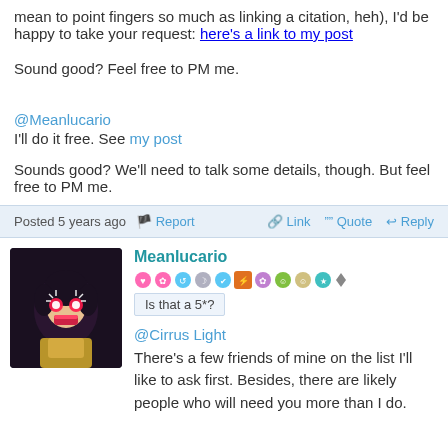mean to point fingers so much as linking a citation, heh), I'd be happy to take your request: here's a link to my post

Sound good? Feel free to PM me.
@Meanlucario
I'll do it free. See my post

Sounds good? We'll need to talk some details, though. But feel free to PM me.
Posted 5 years ago  Report  Link  Quote  Reply
Meanlucario
Is that a 5*?
@Cirrus Light
There's a few friends of mine on the list I'll like to ask first. Besides, there are likely people who will need you more than I do.